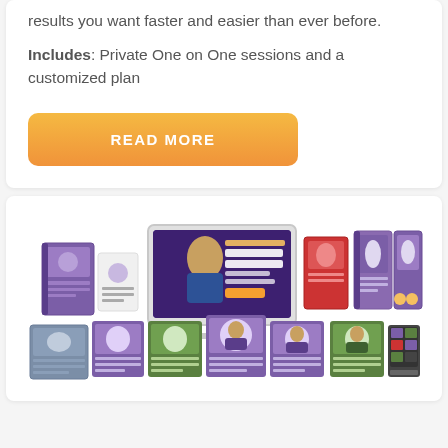results you want faster and easier than ever before.
Includes: Private One on One sessions and a customized plan
READ MORE
[Figure (photo): A product bundle display showing multiple books, DVDs, and a monitor displaying 'Winning the Game of Money' by John Assaraf, along with several other course materials in purple and green packaging.]